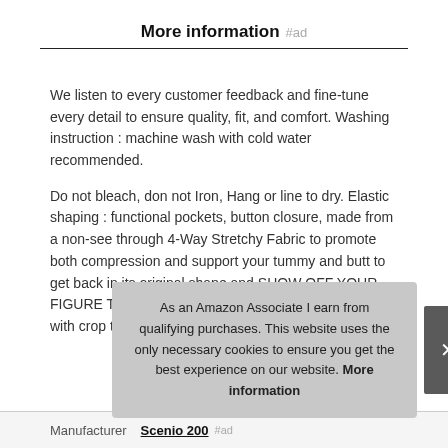More information #ad
We listen to every customer feedback and fine-tune every detail to ensure quality, fit, and comfort. Washing instruction : machine wash with cold water recommended.
Do not bleach, don not Iron, Hang or line to dry. Elastic shaping : functional pockets, button closure, made from a non-see through 4-Way Stretchy Fabric to promote both compression and support your tummy and butt to get back in its original shape and SHOW OFF YOUR FIGURE TO PERFECTION. Collocation : ideal to pair with crop top, vest, tank, casual t-shir
As an Amazon Associate I earn from qualifying purchases. This website uses the only necessary cookies to ensure you get the best experience on our website. More information
Manufacturer  Scenio 200 #ad